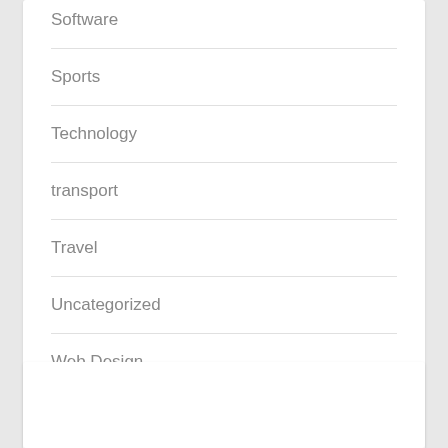Software
Sports
Technology
transport
Travel
Uncategorized
Web Design
Web Development